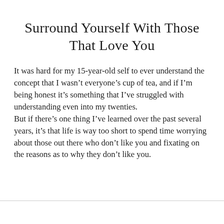Surround Yourself With Those That Love You
It was hard for my 15-year-old self to ever understand the concept that I wasn't everyone's cup of tea, and if I'm being honest it's something that I've struggled with understanding even into my twenties.
But if there's one thing I've learned over the past several years, it's that life is way too short to spend time worrying about those out there who don't like you and fixating on the reasons as to why they don't like you.